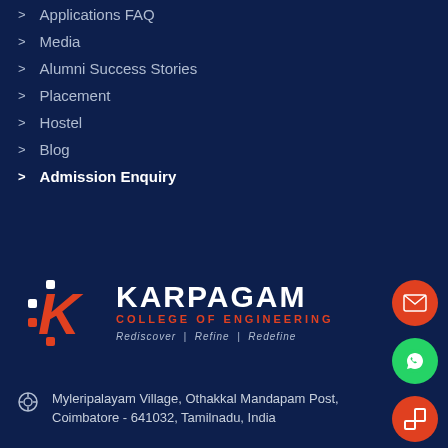Applications FAQ
Media
Alumni Success Stories
Placement
Hostel
Blog
Admission Enquiry
[Figure (logo): Karpagam College of Engineering logo with red K icon and dots, white KARPAGAM text, red COLLEGE OF ENGINEERING text, tagline: Rediscover | Refine | Redefine]
Myleripalayam Village, Othakkal Mandapam Post, Coimbatore - 641032, Tamilnadu, India